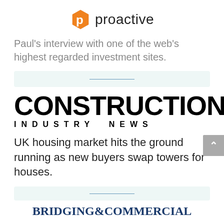[Figure (logo): Proactive Investors logo — orange hexagonal P icon with 'proactive' text in dark grey]
Paul's interview with one of the web's highest regarded investment sites.
[Figure (logo): Construction Industry News logo — large bold black CONSTRUCTION text with INDUSTRY NEWS in spaced capitals below]
UK housing market hits the ground running as new buyers swap towers for houses.
[Figure (logo): Bridging & Commercial logo text in dark navy blue serif font]